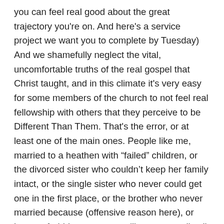you can feel real good about the great trajectory you're on. And here's a service project we want you to complete by Tuesday) And we shamefully neglect the vital, uncomfortable truths of the real gospel that Christ taught, and in this climate it's very easy for some members of the church to not feel real fellowship with others that they perceive to be Different Than Them. That's the error, or at least one of the main ones. People like me, married to a heathen with “failed” children, or the divorced sister who couldn’t keep her family intact, or the single sister who never could get one in the first place, or the brother who never married because (offensive reason here), or heaven forbid, a gay person(!)–we are really all pretty much in the same boat with